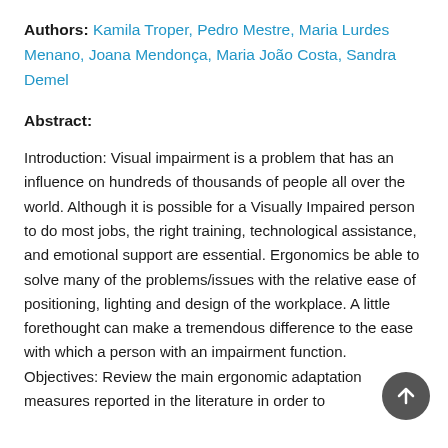Authors: Kamila Troper, Pedro Mestre, Maria Lurdes Menano, Joana Mendonça, Maria João Costa, Sandra Demel
Abstract:
Introduction: Visual impairment is a problem that has an influence on hundreds of thousands of people all over the world. Although it is possible for a Visually Impaired person to do most jobs, the right training, technological assistance, and emotional support are essential. Ergonomics be able to solve many of the problems/issues with the relative ease of positioning, lighting and design of the workplace. A little forethought can make a tremendous difference to the ease with which a person with an impairment function. Objectives: Review the main ergonomic adaptation measures reported in the literature in order to